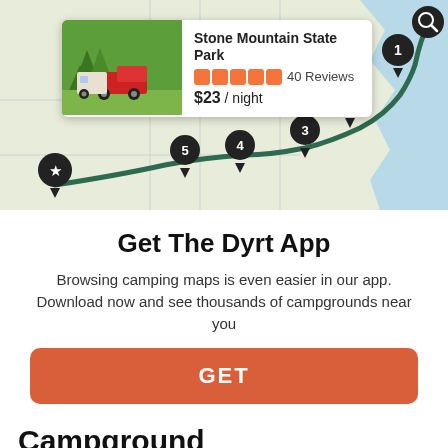[Figure (screenshot): Interactive camping map showing a route with numbered pins (1-5) and a star pin, with a popup card for Stone Mountain State Park showing 5-star rating, 40 Reviews, and $23/night price]
Get The Dyrt App
Browsing camping maps is even easier in our app. Download now and see thousands of campgrounds near you
GET
Campground
$20 - $150 / night
Request to Book